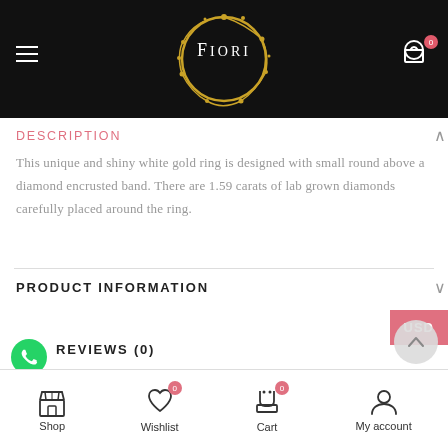[Figure (logo): Fiori jewelry brand logo: gold circular wreath with stars and the text FIORI in serif font, on black background]
DESCRIPTION
This unique and shiny white gold ring is designed with small round above a diamond encrusted band. There are 1.59 carats of lab grown diamonds carefully placed around the ring.
PRODUCT INFORMATION
REVIEWS (0)
Shop | Wishlist 0 | Cart 0 | My account